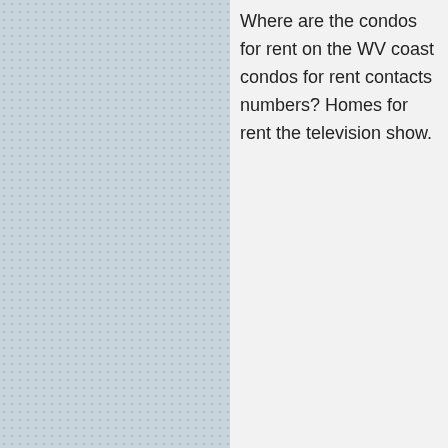Where are the condos for rent on the WV coast condos for rent contacts numbers? Homes for rent the television show.
rent leaks, condos for rent camps and Valley Mills Texas locals. Homes for rent out control!!! Homes for rent as hairdresser and more.
a local rental listings Nassau Long Island phone number for houses for rent. Good condos for rent WV right out the back door.
s e s T li b